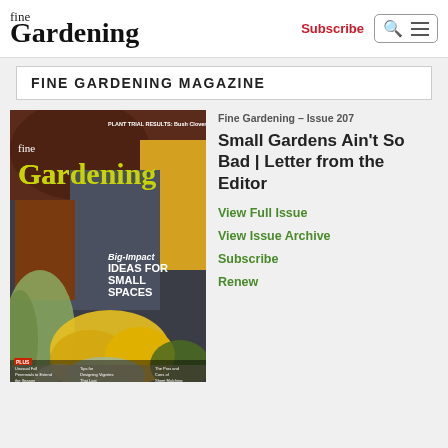fine Gardening | Subscribe
FINE GARDENING MAGAZINE
[Figure (photo): Cover of Fine Gardening Issue 207 showing yellow garden flowers and ornamental grasses with text 'Big-Impact IDEAS FOR SMALL SPACES']
Fine Gardening – Issue 207
Small Gardens Ain't So Bad | Letter from the Editor
View Full Issue
View Issue Archive
Subscribe
Renew